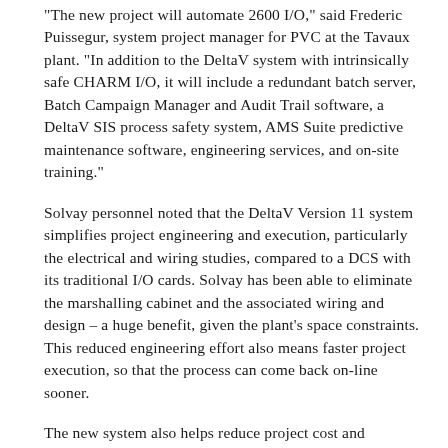"The new project will automate 2600 I/O," said Frederic Puissegur, system project manager for PVC at the Tavaux plant. "In addition to the DeltaV system with intrinsically safe CHARM I/O, it will include a redundant batch server, Batch Campaign Manager and Audit Trail software, a DeltaV SIS process safety system, AMS Suite predictive maintenance software, engineering services, and on-site training."
Solvay personnel noted that the DeltaV Version 11 system simplifies project engineering and execution, particularly the electrical and wiring studies, compared to a DCS with its traditional I/O cards. Solvay has been able to eliminate the marshalling cabinet and the associated wiring and design – a huge benefit, given the plant's space constraints. This reduced engineering effort also means faster project execution, so that the process can come back on-line sooner.
The new system also helps reduce project cost and schedule risks. In past projects, Solvay noted that five per cent had to be added to any project time and cost estimates because of change orders, incorrect estimates, and other problems. With CHARMS, I/O definition and late changes are easily accommodated during project implementation. Solvay now